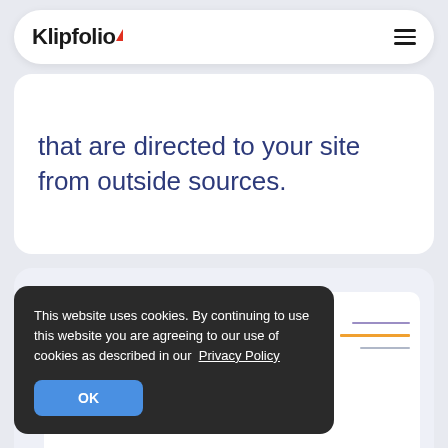Klipfolio
that are directed to your site from outside sources.
[Figure (screenshot): Screenshot of a Klipfolio dashboard showing a Response Rate chart with colored horizontal lines (purple, orange, gray)]
This website uses cookies. By continuing to use this website you are agreeing to our use of cookies as described in our Privacy Policy
OK